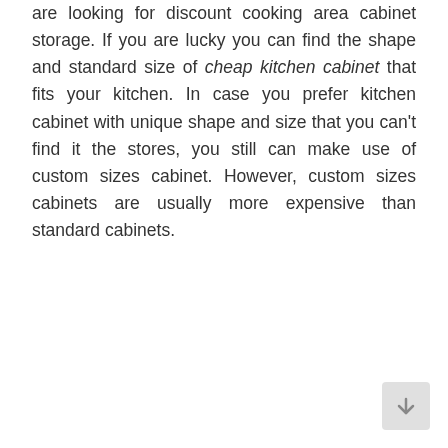are looking for discount cooking area cabinet storage. If you are lucky you can find the shape and standard size of cheap kitchen cabinet that fits your kitchen. In case you prefer kitchen cabinet with unique shape and size that you can't find it the stores, you still can make use of custom sizes cabinet. However, custom sizes cabinets are usually more expensive than standard cabinets.